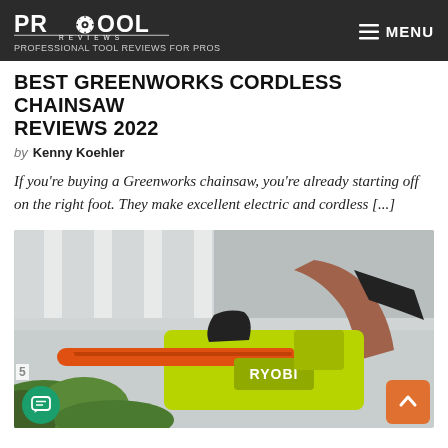PRO TOOL REVIEWS — PROFESSIONAL TOOL REVIEWS FOR PROS
BEST GREENWORKS CORDLESS CHAINSAW REVIEWS 2022
by Kenny Koehler
If you're buying a Greenworks chainsaw, you're already starting off on the right foot. They make excellent electric and cordless [...]
[Figure (photo): Person holding a yellow Ryobi cordless chainsaw with an orange bar, standing in front of a white railing. Green foliage visible at bottom left.]